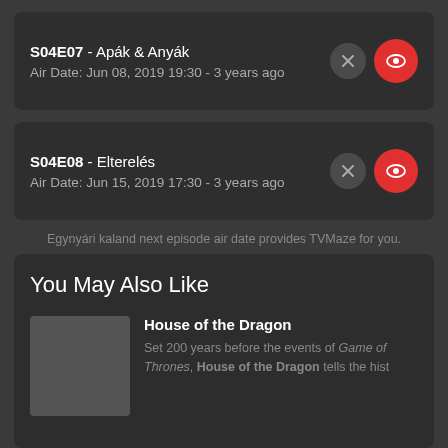S04E07 - Apák & Anyák
Air Date: Jun 08, 2019 19:30 - 3 years ago
S04E08 - Elterelés
Air Date: Jun 15, 2019 17:30 - 3 years ago
Egynyári kaland next episode air date provides TVMaze for you.
You May Also Like
House of the Dragon
Set 200 years before the events of Game of Thrones, House of the Dragon tells the hist